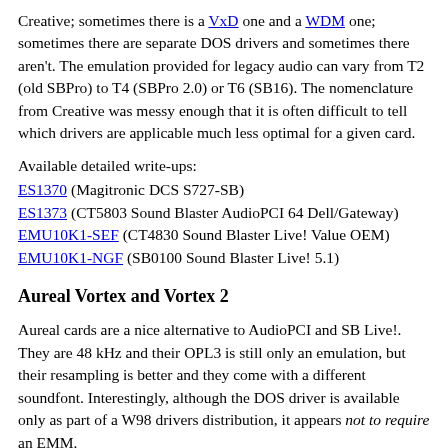Creative; sometimes there is a VxD one and a WDM one; sometimes there are separate DOS drivers and sometimes there aren't. The emulation provided for legacy audio can vary from T2 (old SBPro) to T4 (SBPro 2.0) or T6 (SB16). The nomenclature from Creative was messy enough that it is often difficult to tell which drivers are applicable much less optimal for a given card.
Available detailed write-ups:
ES1370 (Magitronic DCS S727-SB)
ES1373 (CT5803 Sound Blaster AudioPCI 64 Dell/Gateway)
EMU10K1-SEF (CT4830 Sound Blaster Live! Value OEM)
EMU10K1-NGF (SB0100 Sound Blaster Live! 5.1)
Aureal Vortex and Vortex 2
Aureal cards are a nice alternative to AudioPCI and SB Live!. They are 48 kHz and their OPL3 is still only an emulation, but their resampling is better and they come with a different soundfont. Interestingly, although the DOS driver is available only as part of a W98 drivers distribution, it appears not to require an EMM.
In addition to Vortex (AU8820) and Vortex 2 (AU8830) there was Advantage (AU8810), but I have yet to encounter the latter.